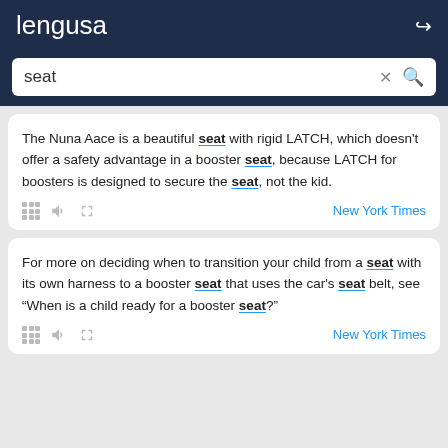lengusa
seat
The Nuna Aace is a beautiful seat with rigid LATCH, which doesn't offer a safety advantage in a booster seat, because LATCH for boosters is designed to secure the seat, not the kid.
New York Times
For more on deciding when to transition your child from a seat with its own harness to a booster seat that uses the car's seat belt, see “When is a child ready for a booster seat?”
New York Times